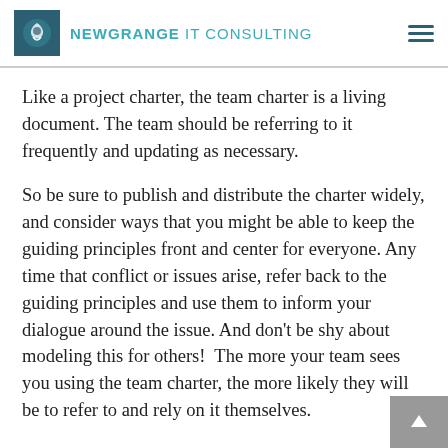NEWGRANGE IT CONSULTING
Like a project charter, the team charter is a living document. The team should be referring to it frequently and updating as necessary.
So be sure to publish and distribute the charter widely, and consider ways that you might be able to keep the guiding principles front and center for everyone. Any time that conflict or issues arise, refer back to the guiding principles and use them to inform your dialogue around the issue. And don't be shy about modeling this for others!  The more your team sees you using the team charter, the more likely they will be to refer to and rely on it themselves.